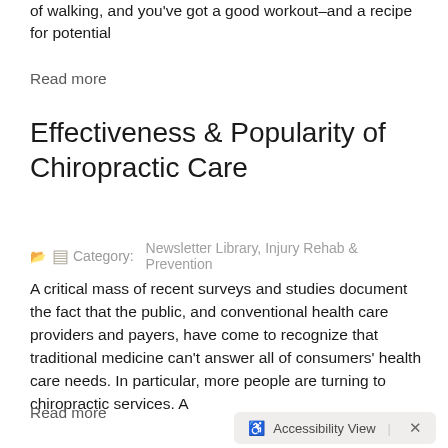of walking, and you've got a good workout–and a recipe for potential
Read more
Effectiveness & Popularity of Chiropractic Care
Category: Newsletter Library, Injury Rehab & Prevention
A critical mass of recent surveys and studies document the fact that the public, and conventional health care providers and payers, have come to recognize that traditional medicine can't answer all of consumers' health care needs. In particular, more people are turning to chiropractic services. A
Read more
[Figure (other): Accessibility View button with wheelchair icon and X close button]